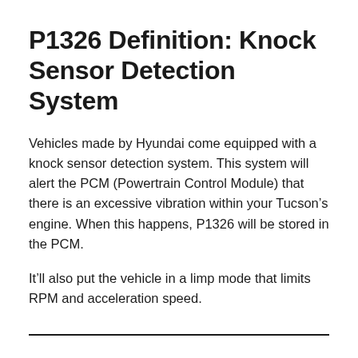P1326 Definition: Knock Sensor Detection System
Vehicles made by Hyundai come equipped with a knock sensor detection system. This system will alert the PCM (Powertrain Control Module) that there is an excessive vibration within your Tucson’s engine. When this happens, P1326 will be stored in the PCM.
It’ll also put the vehicle in a limp mode that limits RPM and acceleration speed.